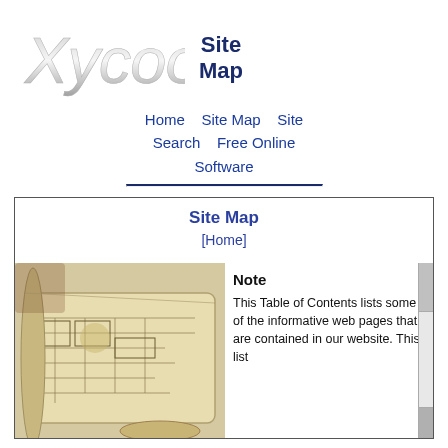[Figure (logo): Xycoon logo in stylized light gray/silver text with gradient, beside bold dark navy 'Site Map' heading text]
Home   Site Map   Site Search   Free Online Software
Site Map
[Home]
[Figure (photo): Photo of old rolled architectural or engineering blueprints/maps on a table]
Note

This Table of Contents lists some of the informative web pages that are contained in our website. This list